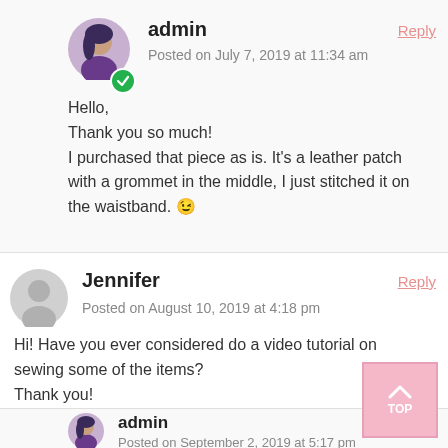[Figure (illustration): Admin user avatar - circular profile photo of a person in purple dress]
admin
Posted on July 7, 2019 at 11:34 am
Reply
Hello,
Thank you so much!
I purchased that piece as is. It's a leather patch with a grommet in the middle, I just stitched it on the waistband. 😉
[Figure (illustration): Jennifer user avatar - circular grey silhouette icon]
Jennifer
Posted on August 10, 2019 at 4:18 pm
Reply
Hi! Have you ever considered do a video tutorial on sewing some of the items?
Thank you!
Jennifer
[Figure (illustration): Admin user avatar again at bottom - circular profile photo of a person in purple dress]
admin
Posted on September 2, 2019 at 5:17 pm